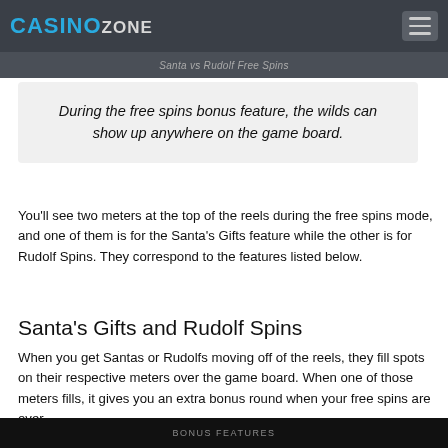CASINO ZONE
Santa vs Rudolf Free Spins
During the free spins bonus feature, the wilds can show up anywhere on the game board.
You'll see two meters at the top of the reels during the free spins mode, and one of them is for the Santa's Gifts feature while the other is for Rudolf Spins. They correspond to the features listed below.
Santa's Gifts and Rudolf Spins
When you get Santas or Rudolfs moving off of the reels, they fill spots on their respective meters over the game board. When one of those meters fills, it gives you an extra bonus round when your free spins are over.
BONUS FEATURES